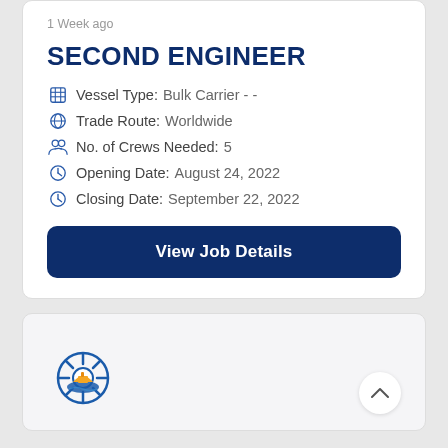1 Week ago
SECOND ENGINEER
Vessel Type:  Bulk Carrier - -
Trade Route:  Worldwide
No. of Crews Needed:  5
Opening Date:  August 24, 2022
Closing Date:  September 22, 2022
View Job Details
[Figure (logo): Ship's wheel logo with orange ship and blue waves, maritime job board icon]